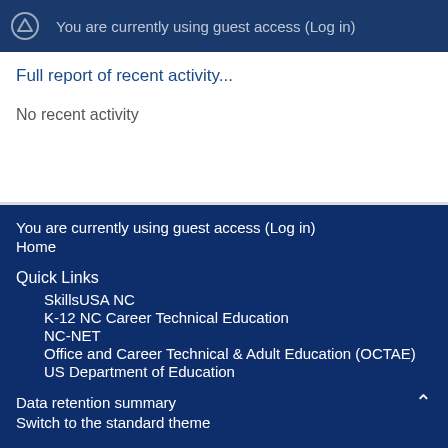You are currently using guest access (Log in)
Full report of recent activity...
No recent activity
You are currently using guest access (Log in)
Home
Quick Links
SkillsUSA NC
K-12 NC Career Technical Education
NC-NET
Office and Career Technical & Adult Education (OCTAE)
US Department of Education
Data retention summary
Switch to the standard theme